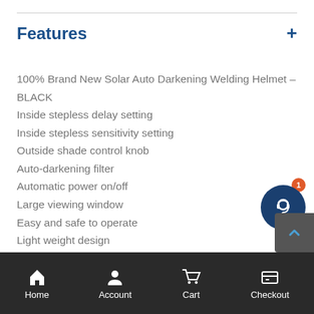Features
100% Brand New Solar Auto Darkening Welding Helmet – BLACK
Inside stepless delay setting
Inside stepless sensitivity setting
Outside shade control knob
Auto-darkening filter
Automatic power on/off
Large viewing window
Easy and safe to operate
Light weight design
Suitable for all types of welding mode
Home  Account  Cart  Checkout